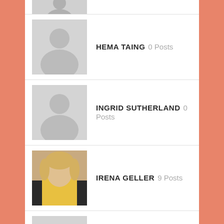[Figure (screenshot): User listing/directory with profile photos and post counts]
HEMA TAING 0 Posts
INGRID SUTHERLAND 0 Posts
IRENA GELLER 9 Posts
JACKIE & KELLI 0 Posts
JACKIE NG 0 Posts